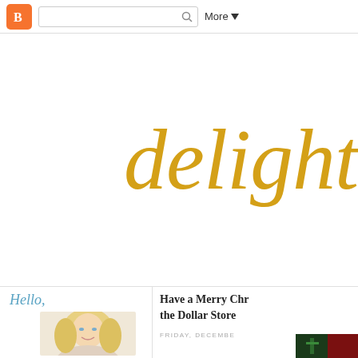Blogger navigation bar with search box and More menu
delight
Hello,
[Figure (photo): Portrait photo of a blonde woman smiling]
Have a Merry Chr... the Dollar Store
FRIDAY, DECEMBE...
[Figure (photo): Small thumbnail image of dark green and red Christmas decorations]